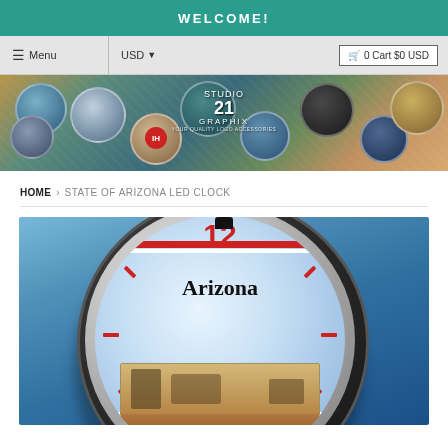WELCOME!
≡ Menu   USD ▾   🛒 0 Cart $0 USD
[Figure (photo): Studio 21 Graphix banner showing various circular clock/disc products with decorative designs including cars, flags, and themed artwork]
HOME › STATE OF ARIZONA LED CLOCK
[Figure (photo): Close-up of a circular LED clock with Arizona state theme. Shows the number 12 in red at the top, the word 'Arizona' in black serif font, red tick marks, red and white stripes around the edge, and a scenic Southwest landscape image in the lower portion. The clock has a chrome/silver bezel with a black mounting cap at top, set against a blue gradient background.]